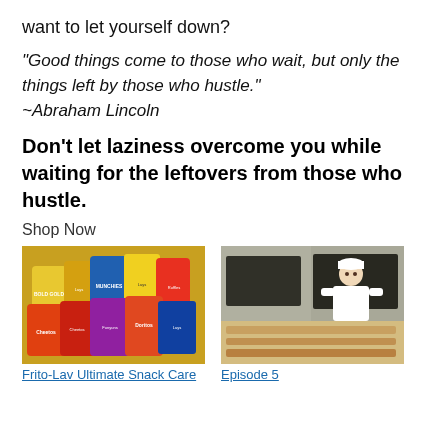want to let yourself down?
“Good things come to those who wait, but only the things left by those who hustle.” ~Abraham Lincoln
Don’t let laziness overcome you while waiting for the leftovers from those who hustle.
Shop Now
[Figure (photo): A colorful pile of various Frito-Lay snack bags including Doritos, Cheetos, Munchies, Lays, Bold Gold and others.]
Frito-Lay Ultimate Snack Care
[Figure (photo): A worker in a white uniform and hat operating equipment in a food production facility, with what appears to be snack/chip products on a conveyor.]
Episode 5